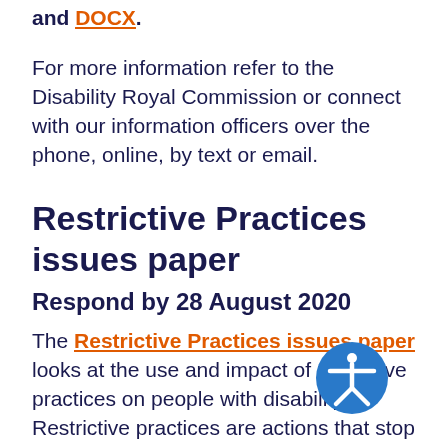and DOCX.
For more information refer to the Disability Royal Commission or connect with our information officers over the phone, online, by text or email.
Restrictive Practices issues paper
Respond by 28 August 2020
The Restrictive Practices issues paper looks at the use and impact of restrictive practices on people with disability. Restrictive practices are actions that stop